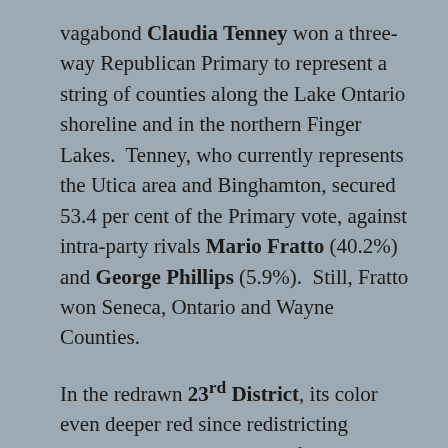vagabond Claudia Tenney won a three-way Republican Primary to represent a string of counties along the Lake Ontario shoreline and in the northern Finger Lakes. Tenney, who currently represents the Utica area and Binghamton, secured 53.4 per cent of the Primary vote, against intra-party rivals Mario Fratto (40.2%) and George Phillips (5.9%). Still, Fratto won Seneca, Ontario and Wayne Counties.
In the redrawn 23rd District, its color even deeper red since redistricting removed Tompkins County from it, the Republican contest that some termed a race-to-the-bottom ended with State GOP Chair Nick Langworthy